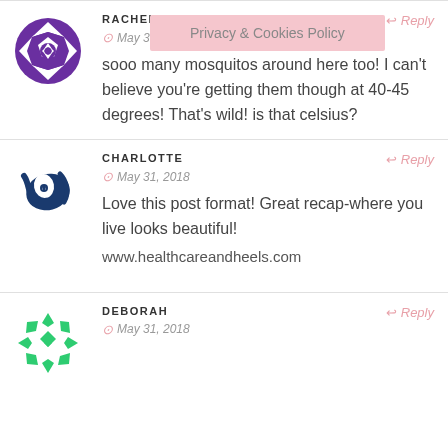RACHEL ... ENNIAL
May 31, 2018
Reply
sooo many mosquitos around here too! I can't believe you're getting them though at 40-45 degrees! That's wild! is that celsius?
CHARLOTTE
May 31, 2018
Reply
Love this post format! Great recap-where you live looks beautiful!
www.healthcareandheels.com
DEBORAH
May 31, 2018
Reply